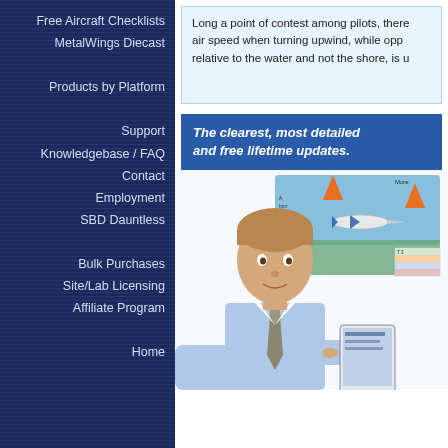Free Aircraft Checklists
MetalWings Diecast
Products by Platform
Support
Knowledgebase / FAQ
Contact
Employment
SBD Dauntless
Bulk Purchases
Site/Lab Licensing
Affiliate Program
Home
Long a point of contest among pilots, there air speed when turning upwind, while opp relative to the water and not the shore, is u
The clearest, most detailed and free lifetime updates.
[Figure (photo): Young man in a light blue dress shirt and tie, smiling, holding a tablet or device, with an aviation diagram showing an airplane over a coastal scene in the background.]